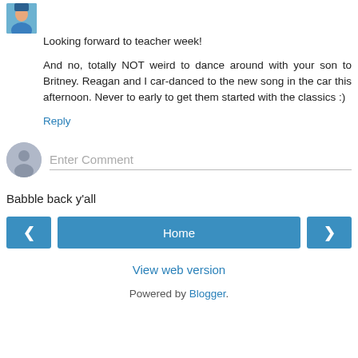Looking forward to teacher week!
And no, totally NOT weird to dance around with your son to Britney. Reagan and I car-danced to the new song in the car this afternoon. Never to early to get them started with the classics :)
Reply
Enter Comment
Babble back y'all
Home
View web version
Powered by Blogger.